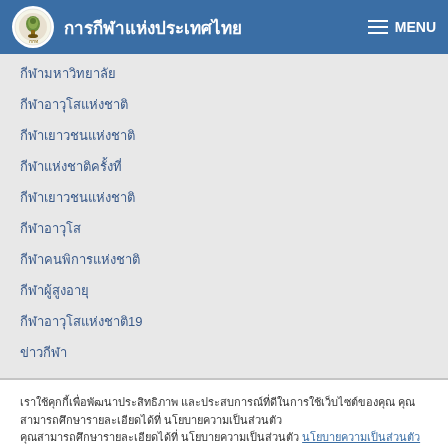การกีฬาแห่งประเทศไทย — MENU
กีฬามหาวิทยาลัย
กีฬาอาวุโสแห่งชาติ
กีฬาเยาวชนแห่งชาติ
กีฬาแห่งชาติครั้งที่
กีฬาเยาวชนแห่งชาติ
กีฬาอาวุโส
กีฬาคนพิการแห่งชาติ
กีฬาผู้สูงอายุ
กีฬาอาวุโสแห่งชาติ19
ข่าวกีฬา
เราใช้คุกกี้เพื่อพัฒนาประสิทธิภาพ และประสบการณ์ที่ดีในการใช้เว็บไซต์ของคุณ คุณสามารถศึกษารายละเอียดได้ที่ นโยบายความเป็นส่วนตัว
Accept All